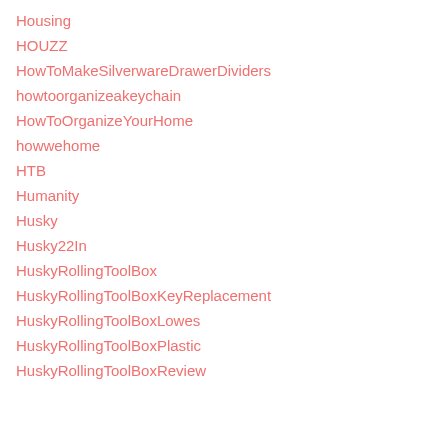Housing
HOUZZ
HowToMakeSilverwareDrawerDividers
howtoorganizeakeychain
HowToOrganizeYourHome
howwehome
HTB
Humanity
Husky
Husky22In
HuskyRollingToolBox
HuskyRollingToolBoxKeyReplacement
HuskyRollingToolBoxLowes
HuskyRollingToolBoxPlastic
HuskyRollingToolBoxReview